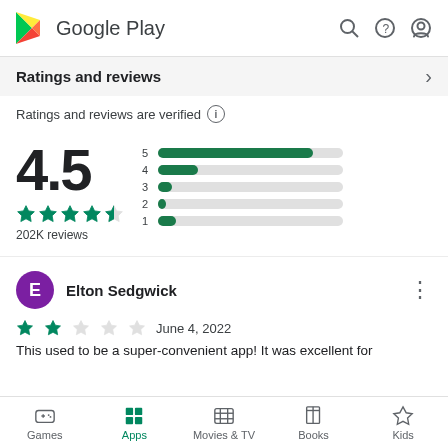Google Play
Ratings and reviews
Ratings and reviews are verified
[Figure (bar-chart): Rating distribution]
4.5
202K reviews
Elton Sedgwick
June 4, 2022
This used to be a super-convenient app! It was excellent for
Games  Apps  Movies & TV  Books  Kids